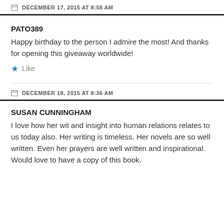DECEMBER 17, 2015 AT 8:58 AM
PATO389
Happy birthday to the person I admire the most! And thanks for opening this giveaway worldwide!
Like
DECEMBER 18, 2015 AT 8:36 AM
SUSAN CUNNINGHAM
I love how her wit and insight into human relations relates to us today also. Her writing is timeless. Her novels are so well written. Even her prayers are well written and inspirational. Would love to have a copy of this book.